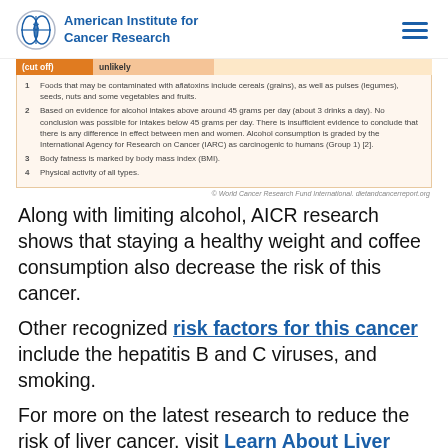American Institute for Cancer Research
| (cut off) | unlikely |
| --- | --- |
| 1 | Foods that may be contaminated with aflatoxins include cereals (grains), as well as pulses (legumes), seeds, nuts and some vegetables and fruits. |
| 2 | Based on evidence for alcohol intakes above around 45 grams per day (about 3 drinks a day). No conclusion was possible for intakes below 45 grams per day. There is insufficient evidence to conclude that there is any difference in effect between men and women. Alcohol consumption is graded by the International Agency for Research on Cancer (IARC) as carcinogenic to humans (Group 1) [2]. |
| 3 | Body fatness is marked by body mass index (BMI). |
| 4 | Physical activity of all types. |
© World Cancer Research Fund International. dietandcancerreport.org
Along with limiting alcohol, AICR research shows that staying a healthy weight and coffee consumption also decrease the risk of this cancer.
Other recognized risk factors for this cancer include the hepatitis B and C viruses, and smoking.
For more on the latest research to reduce the risk of liver cancer, visit Learn About Liver Cancer